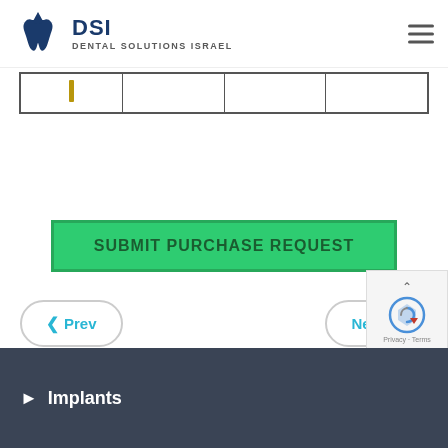[Figure (logo): DSI Dental Solutions Israel logo with blue tooth and Star of David icon]
|  |  |  |  |
SUBMIT PURCHASE REQUEST
Prev
Next
Implants
[Figure (other): Google reCAPTCHA widget with Privacy and Terms links]